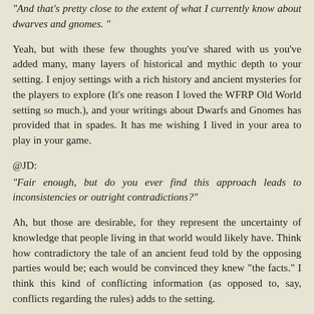"And that's pretty close to the extent of what I currently know about dwarves and gnomes. "
Yeah, but with these few thoughts you've shared with us you've added many, many layers of historical and mythic depth to your setting. I enjoy settings with a rich history and ancient mysteries for the players to explore (It's one reason I loved the WFRP Old World setting so much.), and your writings about Dwarfs and Gnomes has provided that in spades. It has me wishing I lived in your area to play in your game.
@JD:
"Fair enough, but do you ever find this approach leads to inconsistencies or outright contradictions?"
Ah, but those are desirable, for they represent the uncertainty of knowledge that people living in that world would likely have. Think how contradictory the tale of an ancient feud told by the opposing parties would be; each would be convinced they knew "the facts." I think this kind of conflicting information (as opposed to, say, conflicts regarding the rules) adds to the setting.